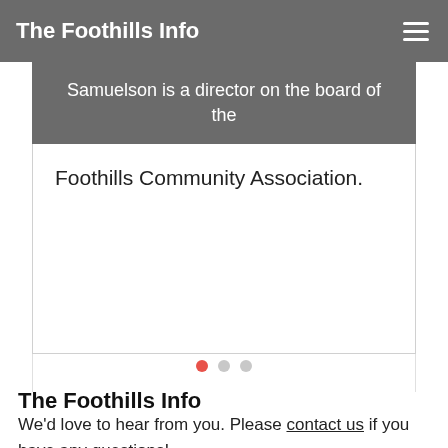The Foothills Info
Samuelson is a director on the board of the Foothills Community Association.
[Figure (other): Carousel dot indicators: one active red dot and two inactive grey dots]
The Foothills Info
We'd love to hear from you. Please contact us if you have any questions!
Get Email Updates
Enter your email here